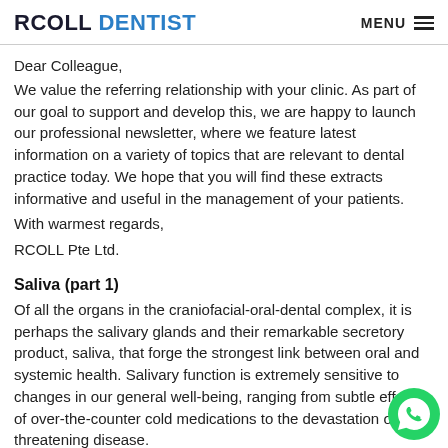RCOLL DENTIST  MENU
Dear Colleague,
We value the referring relationship with your clinic. As part of our goal to support and develop this, we are happy to launch our professional newsletter, where we feature latest information on a variety of topics that are relevant to dental practice today. We hope that you will find these extracts informative and useful in the management of your patients.
With warmest regards,
RCOLL Pte Ltd.
Saliva (part 1)
Of all the organs in the craniofacial-oral-dental complex, it is perhaps the salivary glands and their remarkable secretory product, saliva, that forge the strongest link between oral and systemic health. Salivary function is extremely sensitive to changes in our general well-being, ranging from subtle effects of over-the-counter cold medications to the devastation of life threatening disease.